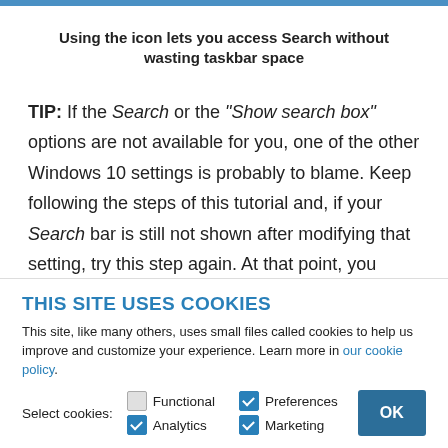Using the icon lets you access Search without wasting taskbar space
TIP: If the Search or the "Show search box" options are not available for you, one of the other Windows 10 settings is probably to blame. Keep following the steps of this tutorial and, if your Search bar is still not shown after modifying that setting, try this step again. At that point, you
THIS SITE USES COOKIES
This site, like many others, uses small files called cookies to help us improve and customize your experience. Learn more in our cookie policy.
Select cookies: Functional (unchecked), Preferences (checked), Analytics (checked), Marketing (checked)